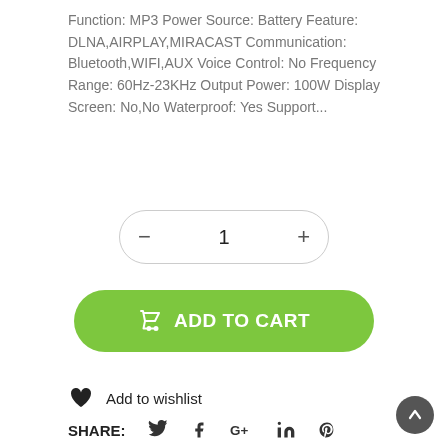Function: MP3 Power Source: Battery Feature: DLNA,AIRPLAY,MIRACAST Communication: Bluetooth,WIFI,AUX Voice Control: No Frequency Range: 60Hz-23KHz Output Power: 100W Display Screen: No,No Waterproof: Yes Support...
[Figure (other): Quantity selector control with minus button, number 1, and plus button inside a pill-shaped border]
[Figure (other): Green pill-shaped ADD TO CART button with shopping cart icon]
Add to wishlist
SHARE:  (twitter) (facebook) (google+) (linkedin) (pinterest)
[Figure (other): Scroll to top button - dark circle with upward arrow]